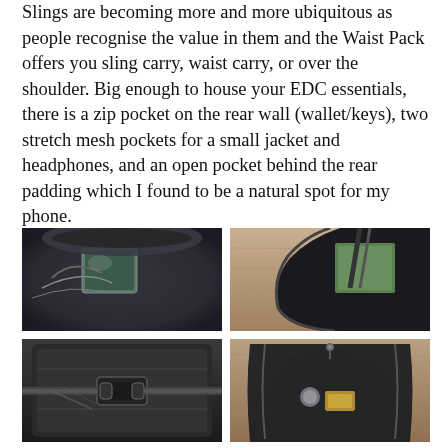Slings are becoming more and more ubiquitous as people recognise the value in them and the Waist Pack offers you sling carry, waist carry, or over the shoulder. Big enough to house your EDC essentials, there is a zip pocket on the rear wall (wallet/keys), two stretch mesh pockets for a small jacket and headphones, and an open pocket behind the rear padding which I found to be a natural spot for my phone.
[Figure (photo): Close-up photo of the interior of a sling/waist pack bag open, showing a tablet or device, mesh pockets and straps inside a dark bag]
[Figure (photo): Photo of a black sling bag open showing a green item (book/wallet) inside a stretch mesh pocket, with wooden surface in background]
[Figure (photo): Close-up photo of the buckle and strap system on the back of the black waist pack/sling bag]
[Figure (photo): Photo of an open black sling bag laid on a wooden surface, showing contents including small items inside]